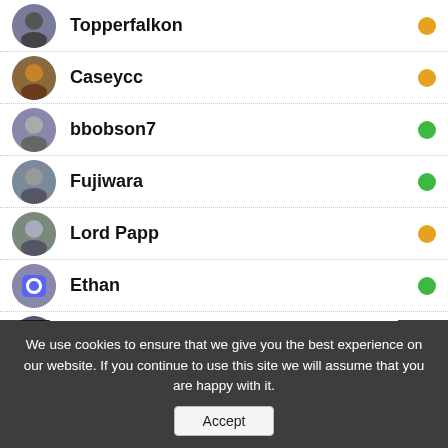Topperfalkon - orange status
Caseycc - orange status
bbobson7 - green status
Fujiwara - green status
Lord Papp - orange status
Ethan - green status
Tech Priest McMahon - orange status
Thanatos - green status
We use cookies to ensure that we give you the best experience on our website. If you continue to use this site we will assume that you are happy with it.
Accept